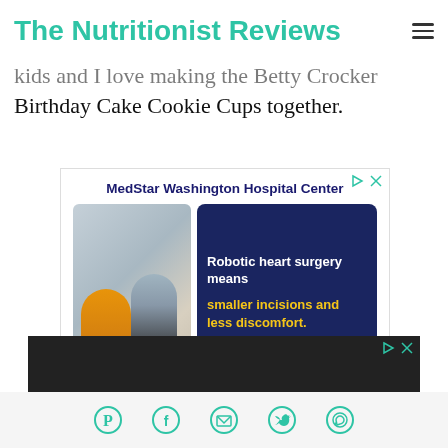The Nutritionist Reviews
kids and I love making the Betty Crocker Birthday Cake Cookie Cups together.
[Figure (screenshot): Advertisement for MedStar Washington Hospital Center featuring two people walking together and text about robotic heart surgery: 'Robotic heart surgery means smaller incisions and less discomfort.' with a 'Request an' button at the bottom.]
[Figure (screenshot): Dark advertisement banner at bottom of page.]